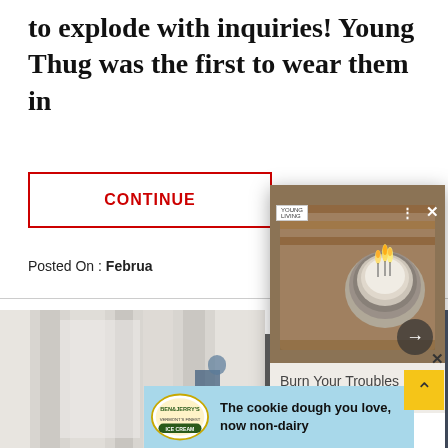to explode with inquiries! Young Thug was the first to wear them in
[Figure (screenshot): Continue reading button with red border, 'CONTINUE' text in red]
Posted On : Februa
[Figure (photo): Popup card showing candle on wooden tray with caption 'Burn Your Troubles Away']
[Figure (photo): Background photo of curtains, partially visible]
[Figure (advertisement): Ben & Jerry's ad: The cookie dough you love, now non-dairy]